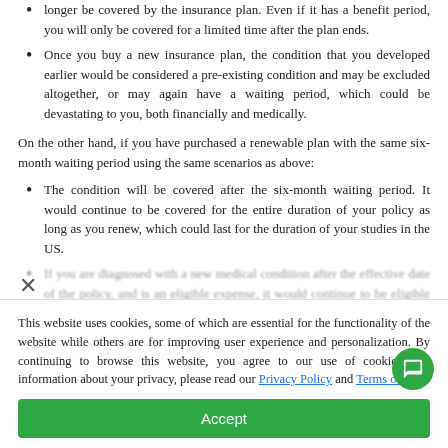longer be covered by the insurance plan. Even if it has a benefit period, you will only be covered for a limited time after the plan ends.
Once you buy a new insurance plan, the condition that you developed earlier would be considered a pre-existing condition and may be excluded altogether, or may again have a waiting period, which could be devastating to you, both financially and medically.
On the other hand, if you have purchased a renewable plan with the same six-month waiting period using the same scenarios as above:
The condition will be covered after the six-month waiting period. It would continue to be covered for the entire duration of your policy as long as you renew, which could last for the duration of your studies in the US.
If you are diagnosed with a new medical condition after the effective date of the policy, and is an eligible expense, it would continue to be eligible for the remaining duration of the program along with the most recent term, contributing the most
This website uses cookies, some of which are essential for the functionality of the website while others are for improving user experience and personalization. By continuing to browse this website, you agree to our use of cookies. For information about your privacy, please read our Privacy Policy and Terms of Use.
Accept